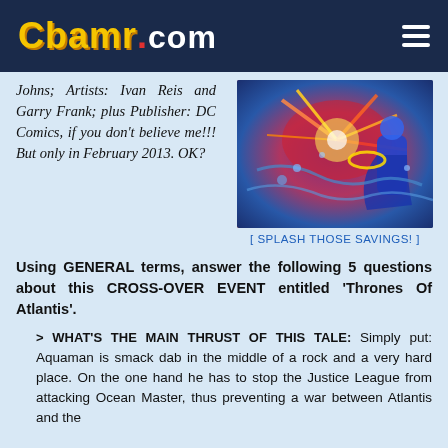CBAMR.COM
Johns; Artists: Ivan Reis and Garry Frank; plus Publisher: DC Comics, if you don't believe me!!! But only in February 2013. OK?
[Figure (illustration): Comic book art showing action scene with colorful characters]
[ SPLASH THOSE SAVINGS! ]
Using GENERAL terms, answer the following 5 questions about this CROSS-OVER EVENT entitled 'Thrones Of Atlantis'.
> WHAT'S THE MAIN THRUST OF THIS TALE: Simply put: Aquaman is smack dab in the middle of a rock and a very hard place. On the one hand he has to stop the Justice League from attacking Ocean Master, thus preventing a war between Atlantis and the